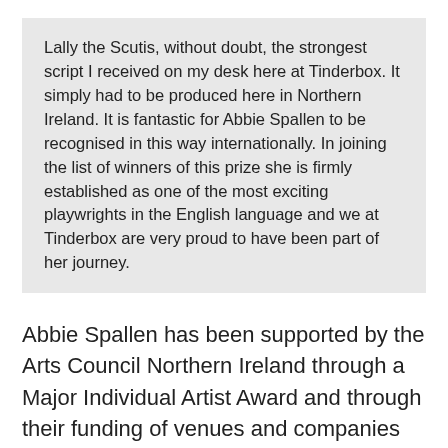Lally the Scutis, without doubt, the strongest script I received on my desk here at Tinderbox. It simply had to be produced here in Northern Ireland. It is fantastic for Abbie Spallen to be recognised in this way internationally. In joining the list of winners of this prize she is firmly established as one of the most exciting playwrights in the English language and we at Tinderbox are very proud to have been part of her journey.
Abbie Spallen has been supported by the Arts Council Northern Ireland through a Major Individual Artist Award and through their funding of venues and companies who has commissioned and produced her work.